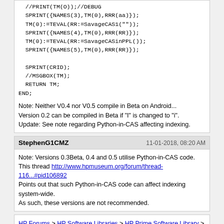//PRINT(TM(O));//DEBUG
SPRINT({NAMES(3),TM(0),RRR(aa)});
TM(0):=TEVAL(RR:=SavageCAS1(""));
SPRINT({NAMES(4),TM(0),RRR(RR)});
TM(0):=TEVAL(RR:=SavageCASinPPL());
SPRINT({NAMES(5),TM(0),RRR(RR)});

SPRINT(CRID);
//MSGBOX(TM);
RETURN TM;
END;
Note: Neither V0.4 nor V0.5 compile in Beta on Android...
Version 0.2 can be compiled in Beta if "I" is changed to "i".
Update: See note regarding Python-in-CAS affecting indexing.
StephenG1CMZ    11-01-2018, 08:20 AM
Note: Versions 0.3Beta, 0.4 and 0.5 utilise Python-in-CAS code.
This thread http://www.hpmuseum.org/forum/thread-116...#pid106892
Points out that such Python-in-CAS code can affect indexing system-wide.
As such, these versions are not recommended.
HP Forums > HP Software Libraries > HP Prime Software Library > Benchmark: Savage
Powered By MyBB. © 2002-2022 MyBB Group